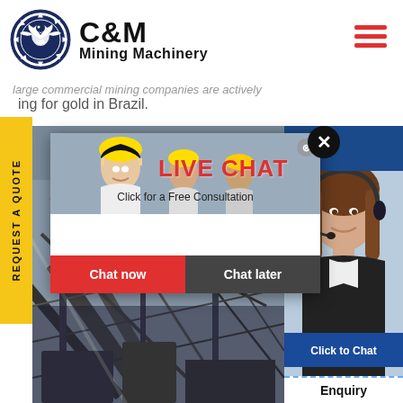[Figure (logo): C&M Mining Machinery logo with eagle in gear circle, dark navy blue]
large commercial mining companies are actively mining for gold in Brazil.
[Figure (photo): Mining conveyor belt machinery industrial background image]
[Figure (photo): Female customer support operator with headset smiling]
REQUEST A QUOTE
[Figure (screenshot): Live Chat popup overlay with workers in hard hats. Shows LIVE CHAT heading, Click for a Free Consultation, Chat now and Chat later buttons]
Hours
line
Click to Chat
Enquiry